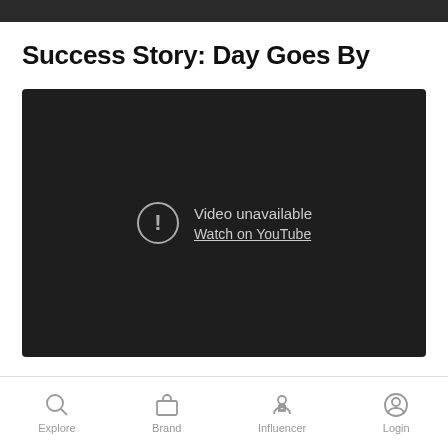[Figure (screenshot): Top strip showing partial image from previous content, dark/black]
Success Story: Day Goes By
[Figure (screenshot): Embedded YouTube video player showing 'Video unavailable' error message with a warning icon and 'Watch on YouTube' link, on a dark background]
Explore   Brand   Influencer   Login